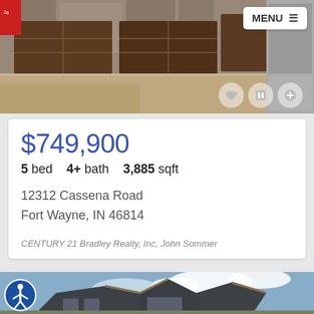[Figure (photo): Photo of a house exterior with stone and wood garage doors under construction, top of page]
$749,900
5 bed   4+ bath   3,885 sqft
12312 Cassena Road
Fort Wayne, IN 46814
CENTURY 21 Bradley Realty, Inc, John Sommer
[Figure (photo): Photo of a craftsman-style house exterior with dark siding and peaked roofline against a partly cloudy sky]